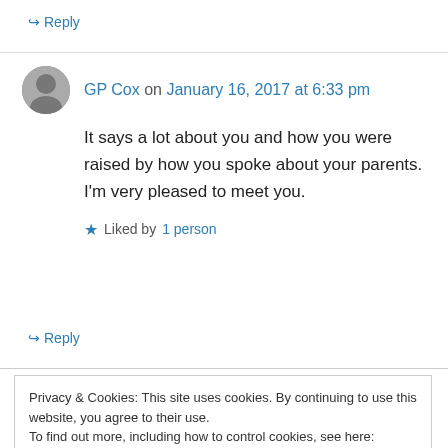↳ Reply
GP Cox on January 16, 2017 at 6:33 pm
It says a lot about you and how you were raised by how you spoke about your parents. I'm very pleased to meet you.
★ Liked by 1 person
↳ Reply
Privacy & Cookies: This site uses cookies. By continuing to use this website, you agree to their use.
To find out more, including how to control cookies, see here: Cookie Policy
Close and accept